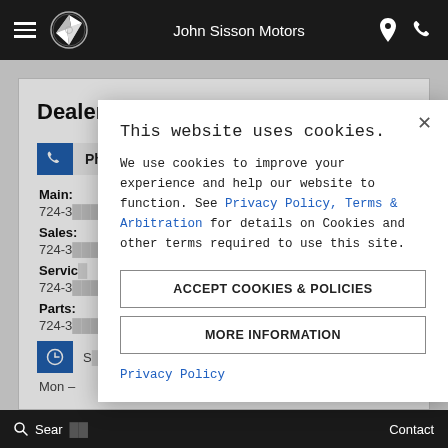John Sisson Motors
Dealership Info
Phone Numbers:
Main:
724-3...
Sales:
724-3...
Service:
724-3...
Parts:
724-3...
Mon -
[Figure (screenshot): Cookie consent modal dialog overlaying a Mercedes-Benz dealership website. Modal contains title 'This website uses cookies.', body text about cookie usage with a link to 'Privacy Policy, Terms & Arbitration', two buttons 'ACCEPT COOKIES & POLICIES' and 'MORE INFORMATION', and a 'Privacy Policy' link at the bottom.]
Search    Contact